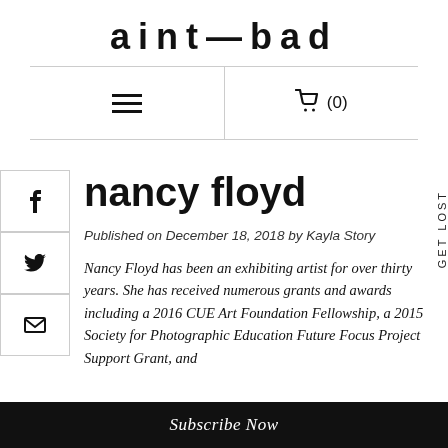aint—bad
nancy floyd
Published on December 18, 2018 by Kayla Story
Nancy Floyd has been an exhibiting artist for over thirty years. She has received numerous grants and awards including a 2016 CUE Art Foundation Fellowship, a 2015 Society for Photographic Education Future Focus Project Support Grant, and
Subscribe Now